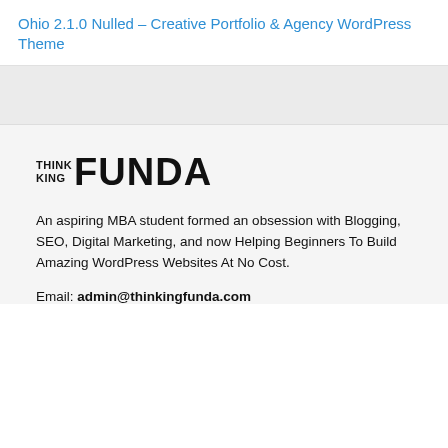Ohio 2.1.0 Nulled – Creative Portfolio & Agency WordPress Theme
[Figure (logo): ThinkingFunda logo with stacked THINK KING text and large FUNDA text]
An aspiring MBA student formed an obsession with Blogging, SEO, Digital Marketing, and now Helping Beginners To Build Amazing WordPress Websites At No Cost.
Email: admin@thinkingfunda.com